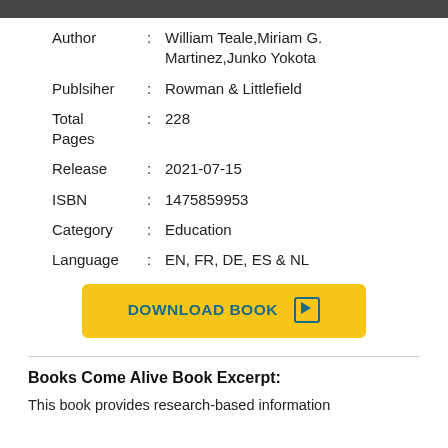Author : William Teale, Miriam G. Martinez, Junko Yokota
Publsiher : Rowman & Littlefield
Total Pages : 228
Release : 2021-07-15
ISBN : 1475859953
Category : Education
Language : EN, FR, DE, ES & NL
[Figure (other): Download Book button with yellow background and teal text with play icon]
Books Come Alive Book Excerpt:
This book provides research-based information